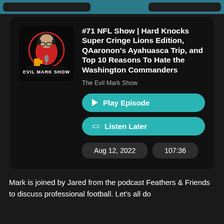#71 NFL Show | Hard Knocks Super Cringe Lions Edition, QAaronon's Ayahuasca Trip, and Top 10 Reasons To Hate the Washington Commanders
The Evil Mark Show
Aug 12, 2022
107:36
Mark is joined by Jared from the podcast Feathers & Friends to discuss professional football. Let's all do